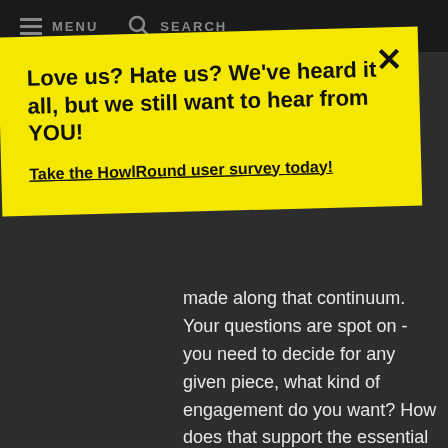MENU   SEARCH
Love us? Hate us? We've heard it all, but we still want to hear from YOU!
Take the HowlRound user survey today!
made along that continuum. Your questions are spot on - you need to decide for any given piece, what kind of engagement do you want? How does that support the essential story/experience you are creating? And once you know that, then HOW do create that engagement.